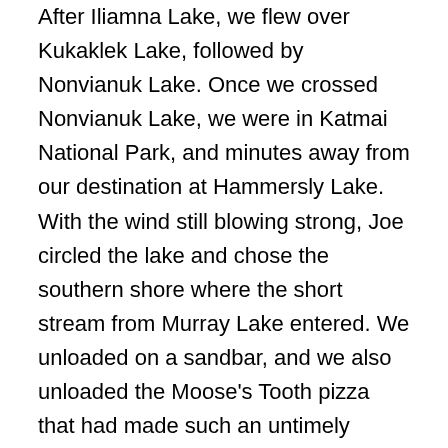After Iliamna Lake, we flew over Kukaklek Lake, followed by Nonvianuk Lake. Once we crossed Nonvianuk Lake, we were in Katmai National Park, and minutes away from our destination at Hammersly Lake. With the wind still blowing strong, Joe circled the lake and chose the southern shore where the short stream from Murray Lake entered. We unloaded on a sandbar, and we also unloaded the Moose's Tooth pizza that had made such an untimely escape from one camper's alimentary canal. The scenery had been spectacular, but we were all glad the plane ride was over. We scouted out the beach, and quickly realized we were sharing the sandbar with a family of nesting Semipalmated Plovers. It seemed almost impossible that this little bird, and its even tinier chicks, had built a nest in the open on this exposed, pebbly beach. However, the chick's camouflaging was remarkable and easy to miss, so we marked off their nest to avoid